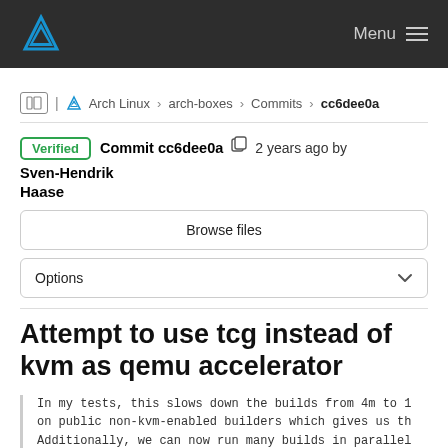Arch Linux — Menu
Arch Linux › arch-boxes › Commits › cc6dee0a
Verified Commit cc6dee0a 2 years ago by Sven-Hendrik Haase
Browse files
Options
Attempt to use tcg instead of kvm as qemu accelerator
In my tests, this slows down the builds from 4m to 1
on public non-kvm-enabled builders which gives us th
Additionally, we can now run many builds in parallel